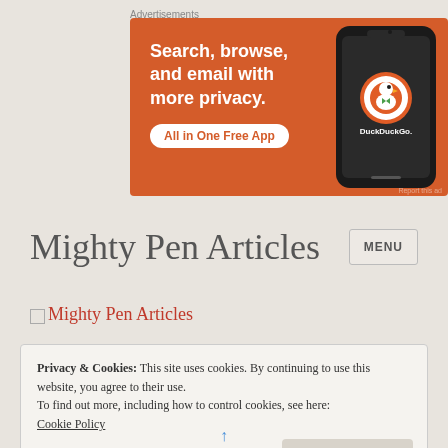Advertisements
[Figure (illustration): DuckDuckGo advertisement banner with orange background. Text reads 'Search, browse, and email with more privacy. All in One Free App' with DuckDuckGo logo and phone graphic.]
Mighty Pen Articles
[Figure (logo): Mighty Pen Articles logo - broken image icon followed by red text 'Mighty Pen Articles']
Privacy & Cookies: This site uses cookies. By continuing to use this website, you agree to their use.
To find out more, including how to control cookies, see here:
Cookie Policy
Close and accept